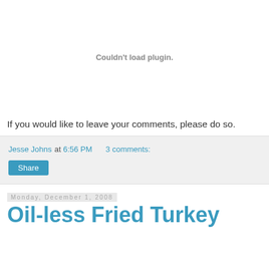Couldn't load plugin.
If you would like to leave your comments, please do so.
Jesse Johns at 6:56 PM   3 comments:
Share
Monday, December 1, 2008
Oil-less Fried Turkey